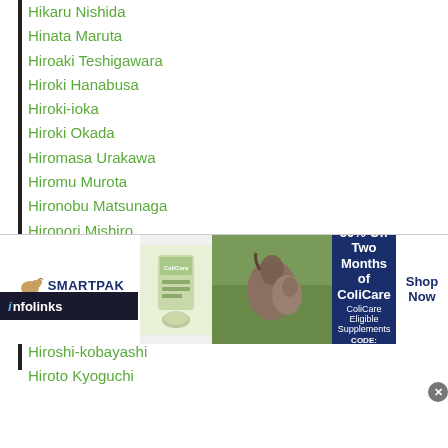Hikaru Nishida
Hinata Maruta
Hiroaki Teshigawara
Hiroki Hanabusa
Hiroki-ioka
Hiroki Okada
Hiromasa Urakawa
Hiromu Murota
Hironobu Matsunaga
Hironori Mishiro
Hironori-shigeta
Hiroshige-osawa
Hiroshi-kawashima
Hiroshi-kawashima-vs-katsuya-onizuka
Hiroshi-kobayashi
Hiroto Kyoguchi
[Figure (infographic): Advertisement banner for SmartPak featuring ColiCare supplement offer: 50% Off Two Months of ColiCare, ColiCare Eligible Supplements, CODE: COLICARE10, with Shop Now button. Infolinks branding bar visible above the ad.]